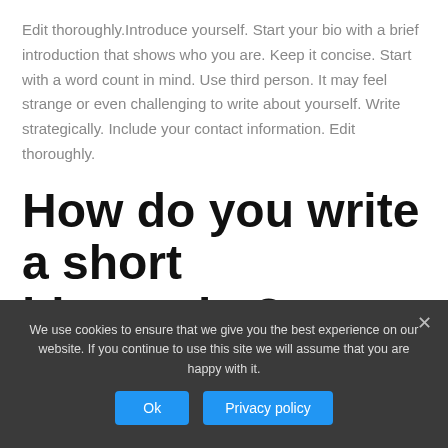Edit thoroughly.Introduce yourself. Start your bio with a brief introduction that shows who you are. Keep it concise. Start with a word count in mind. Use third person. It may feel strange or even challenging to write about yourself. Write strategically. Include your contact information. Edit thoroughly.
How do you write a short biography?
We use cookies to ensure that we give you the best experience on our website. If you continue to use this site we will assume that you are happy with it.